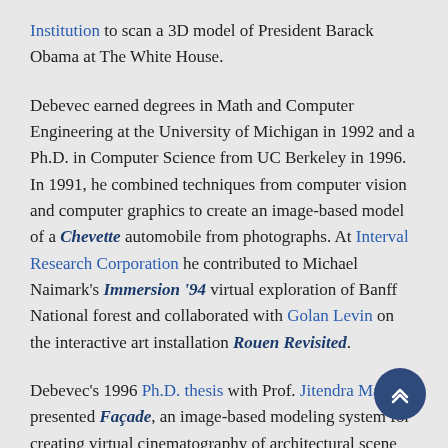Institution to scan a 3D model of President Barack Obama at The White House.
Debevec earned degrees in Math and Computer Engineering at the University of Michigan in 1992 and a Ph.D. in Computer Science from UC Berkeley in 1996. In 1991, he combined techniques from computer vision and computer graphics to create an image-based model of a Chevette automobile from photographs. At Interval Research Corporation he contributed to Michael Naimark's Immersion '94 virtual exploration of Banff National forest and collaborated with Golan Levin on the interactive art installation Rouen Revisited.
Debevec's 1996 Ph.D. thesis with Prof. Jitendra Malik presented Façade, an image-based modeling system for creating virtual cinematography of architectural scenes using new techniques for photogrammetry and image-